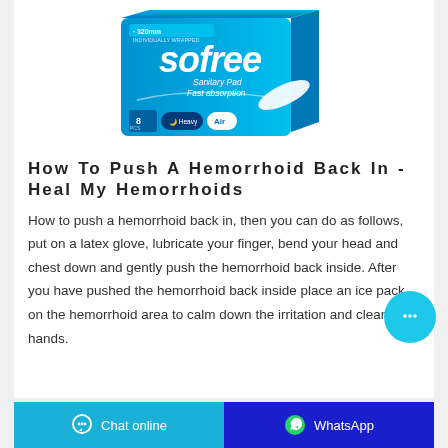[Figure (photo): Sofree Sanitary Pad Fast absorption product box, blue packaging with '320mm', '8 pcs', 'Heavy', 'Air' labels and a pad displayed]
How To Push A Hemorrhoid Back In - Heal My Hemorrhoids
How to push a hemorrhoid back in, then you can do as follows, put on a latex glove, lubricate your finger, bend your head and chest down and gently push the hemorrhoid back inside. After you have pushed the hemorrhoid back inside place an ice pack on the hemorrhoid area to calm down the irritation and clean your hands.
Chat online | WhatsApp